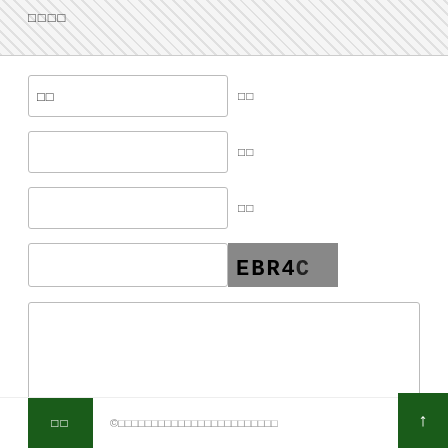□□□□
□□
□□
□□
□□
[Figure (screenshot): CAPTCHA image showing text EBR4C on grey background]
□□
□□  ©□□□□□□□□□□□□□□□□□□□□□□□□